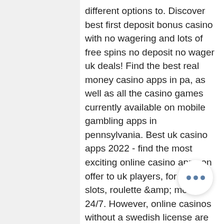different options to. Discover best first deposit bonus casino with no wagering and lots of free spins no deposit no wager uk deals! Find the best real money casino apps in pa, as well as all the casino games currently available on mobile gambling apps in pennsylvania. Best uk casino apps 2022 - find the most exciting online casino apps on offer to uk players, for mobile slots, roulette &amp; more, 24/7. However, online casinos without a swedish license are filled with exciting and generous promotional offers. Many unlicensed gambling sites offer. On this page you can browse and compare offers using our list of the best casino sign-up bonuses available, read our detailed, expert. Over ₹650k in total casino bonuses. Deposit, no deposit, and welcome offers in combination with free spins. Best casino bonus in india. Unibet, which also offers sports betting, is widely known in europe but is starting to make a splash in india now as